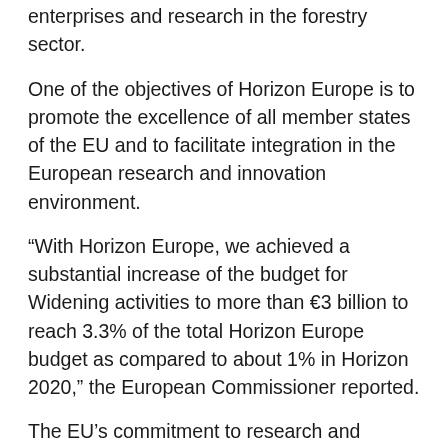enterprises and research in the forestry sector.
One of the objectives of Horizon Europe is to promote the excellence of all member states of the EU and to facilitate integration in the European research and innovation environment.
“With Horizon Europe, we achieved a substantial increase of the budget for Widening activities to more than €3 billion to reach 3.3% of the total Horizon Europe budget as compared to about 1% in Horizon 2020,” the European Commissioner reported.
The EU’s commitment to research and innovation will be further strengthened in the future with an increased budget of € 100 billion for the period 2021-2027, which will further contribute to the success of European researchers and institutions. Among them are many Nobel Prize winners who have in the past secured the support of various European programs for their research work, such as Horizon